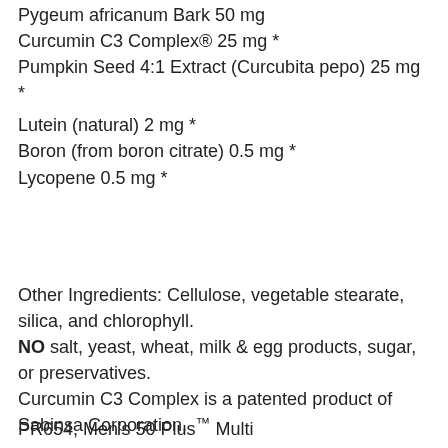Pygeum africanum Bark 50 mg
Curcumin C3 Complex® 25 mg *
Pumpkin Seed 4:1 Extract (Curcubita pepo) 25 mg *
Lutein (natural) 2 mg *
Boron (from boron citrate) 0.5 mg *
Lycopene 0.5 mg *
Other Ingredients: Cellulose, vegetable stearate, silica, and chlorophyll. NO salt, yeast, wheat, milk & egg products, sugar, or preservatives. Curcumin C3 Complex is a patented product of Sabinsa Corporation.
PR654, Men's 50 Plus™ Multi